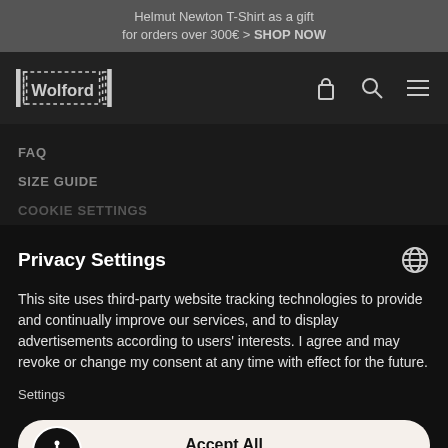Helmut Newton T-Shirt as a gift for orders over 300€ > SHOP NOW
[Figure (logo): Wolford brand logo with stylized bracket design]
FAQ
SIZE GUIDE
COOKIE SETTINGS
Privacy Settings
This site uses third-party website tracking technologies to provide and continually improve our services, and to display advertisements according to users' interests. I agree and may revoke or change my consent at any time with effect for the future.
Settings
Accept All
Accept only essential cookies